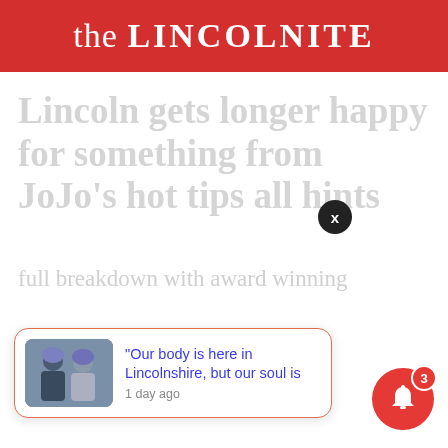the LINCOLNITE
Lincoln gets longer happy hour something from JoJo's hot tips and hints
full breakdown with award winning
[Figure (screenshot): Push notification card with thumbnail of two people wearing riding helmets, text: '"Our body is here in Lincolnshire, but our soul is' and '1 day ago']
[Figure (other): Close button (X) dark circle overlay near the notification card]
[Figure (other): Red bell notification button with badge showing count 3 in bottom right corner]